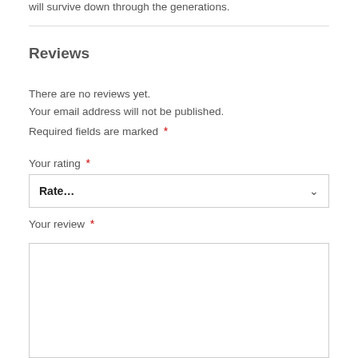will survive down through the generations.
Reviews
There are no reviews yet.
Your email address will not be published.
Required fields are marked *
Your rating *
Rate...
Your review *